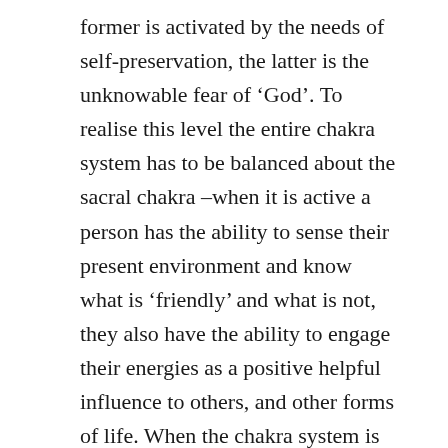former is activated by the needs of self-preservation, the latter is the unknowable fear of ‘God’. To realise this level the entire chakra system has to be balanced about the sacral chakra –when it is active a person has the ability to sense their present environment and know what is ‘friendly’ and what is not, they also have the ability to engage their energies as a positive helpful influence to others, and other forms of life. When the chakra system is in balance with the fulcrum sacral chakra the brain mind has little influence over reception and action. The second level is more complex as it involves three forms of focus, but cannot be effective, and let me repeat that –cannot be effective unless the harmony required of the